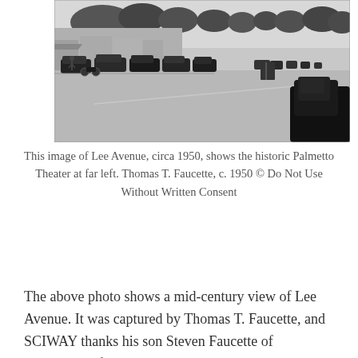[Figure (photo): Black and white photograph of Lee Avenue circa 1950, showing a wide street with parked vintage cars along the left side, storefronts in the background, and a large dark car visible at the far right foreground. Trees line the far end of the street.]
This image of Lee Avenue, circa 1950, shows the historic Palmetto Theater at far left. Thomas T. Faucette, c. 1950 © Do Not Use Without Written Consent
The above photo shows a mid-century view of Lee Avenue. It was captured by Thomas T. Faucette, and SCIWAY thanks his son Steven Faucette of Williamston for sharing